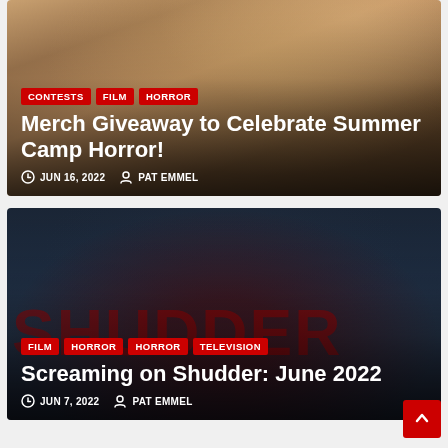[Figure (photo): Card 1: Photo of a person with curly hair at a camp-style setting with wooden background. Red tags: CONTESTS, FILM, HORROR. Title: Merch Giveaway to Celebrate Summer Camp Horror! Date: JUN 16, 2022, Author: PAT EMMEL]
[Figure (photo): Card 2: Dark atmospheric image with cloudy sky, SHUDDER watermark text in red. Tags: FILM, HORROR, HORROR, TELEVISION. Title: Screaming on Shudder: June 2022. Date: JUN 7, 2022, Author: PAT EMMEL]